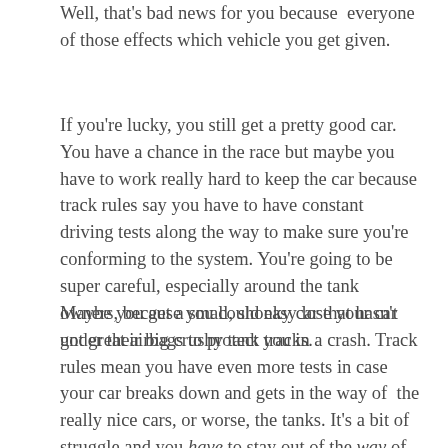Well, that's bad news for you because  everyone of those effects which vehicle you get given.
If you're lucky, you still get a pretty good car.  You have a chance in the race but maybe you have to work really hard to keep the car because track rules say you have to have constant driving tests along the way to make sure you're conforming to the system. You're going to be super careful, especially around the tank owners, because you could easy lose your car under their big crushy tank tracks.
Maybe you get a small, shonky car that hasn't got great airbags to protect you in a crash. Track rules mean you have even more tests in case your car breaks down and gets in the way of  the really nice cars, or worse, the tanks. It's a bit of struggle and you have to stay out of the way of those tanks because if you screw up, you could lose your car and whatever health you have .